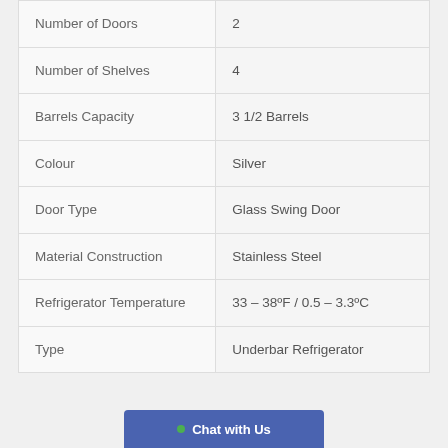| Attribute | Value |
| --- | --- |
| Number of Doors | 2 |
| Number of Shelves | 4 |
| Barrels Capacity | 3 1/2 Barrels |
| Colour | Silver |
| Door Type | Glass Swing Door |
| Material Construction | Stainless Steel |
| Refrigerator Temperature | 33 – 38ºF / 0.5 – 3.3ºC |
| Type | Underbar Refrigerator |
Chat with Us